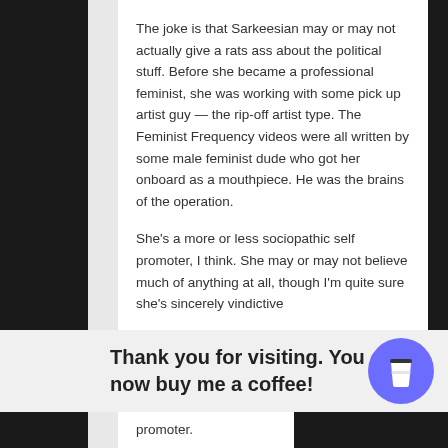The joke is that Sarkeesian may or may not actually give a rats ass about the political stuff. Before she became a professional feminist, she was working with some pick up artist guy — the rip-off artist type. The Feminist Frequency videos were all written by some male feminist dude who got her onboard as a mouthpiece. He was the brains of the operation.

She's a more or less sociopathic self promoter, I think. She may or may not believe much of anything at all, though I'm quite sure she's sincerely vindictive
Thank you for visiting. You can now buy me a coffee!
promoter.